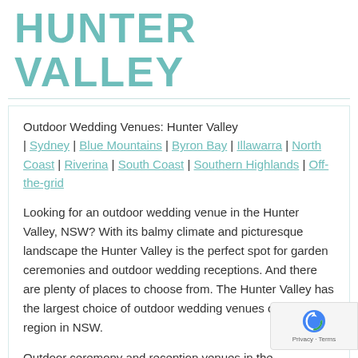HUNTER VALLEY
Outdoor Wedding Venues: Hunter Valley | Sydney | Blue Mountains | Byron Bay | Illawarra | North Coast | Riverina | South Coast | Southern Highlands | Off-the-grid
Looking for an outdoor wedding venue in the Hunter Valley, NSW? With its balmy climate and picturesque landscape the Hunter Valley is the perfect spot for garden ceremonies and outdoor wedding receptions. And there are plenty of places to choose from. The Hunter Valley has the largest choice of outdoor wedding venues of any region in NSW.
Outdoor ceremony and reception venues in the